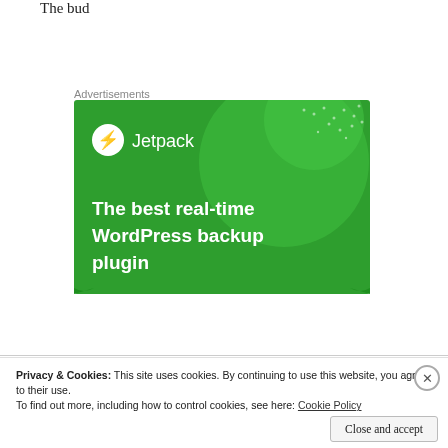The bud
Advertisements
[Figure (screenshot): Jetpack advertisement banner with green background, Jetpack logo (circle with lightning bolt) and text 'The best real-time WordPress backup plugin']
Privacy & Cookies: This site uses cookies. By continuing to use this website, you agree to their use.
To find out more, including how to control cookies, see here: Cookie Policy
Close and accept